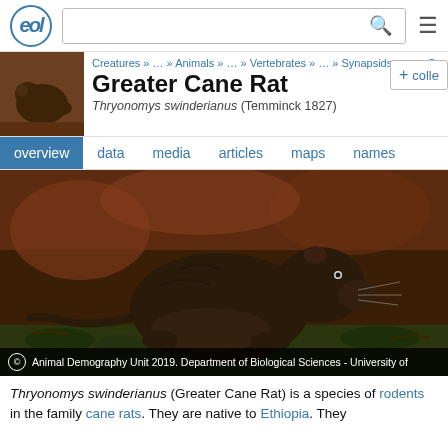EOL - Encyclopedia of Life header with search bar and menu
[Figure (screenshot): EOL website header showing logo, search bar, and hamburger menu]
Creatures » … » Animals » … » Vertebrates » … » Synapsids » … » C
Greater Cane Rat
Thryonomys swinderianus (Temminck 1827)
[Figure (photo): Small thumbnail photo of Greater Cane Rat]
overview   data   media   articles   maps   names
[Figure (photo): Large photograph of Greater Cane Rat (Thryonomys swinderianus) on the ground at night, showing a large dark brown rodent facing right]
© Animal Demography Unit 2019. Department of Biological Sciences - University of
Thryonomys swinderianus (Greater Cane Rat) is a species of rodents in the family cane rats. They are native to Ethiopia. They